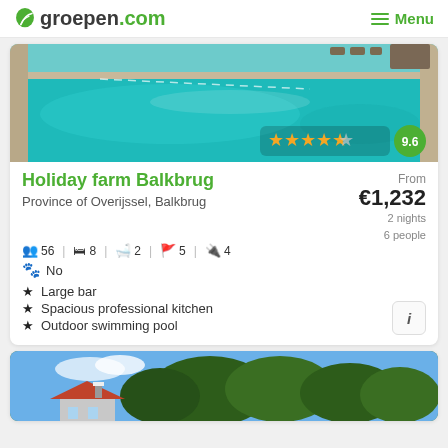groepen.com — Menu
[Figure (photo): Outdoor swimming pool with turquoise water, patio furniture visible in background. Rating overlay: 4.5 stars, score 9.6]
Holiday farm Balkbrug
Province of Overijssel, Balkbrug
56 | 8 | 2 | 5 | 4
No
From €1,232 2 nights 6 people
Large bar
Spacious professional kitchen
Outdoor swimming pool
[Figure (photo): Partial view of a second property listing showing trees and a house/farm building]